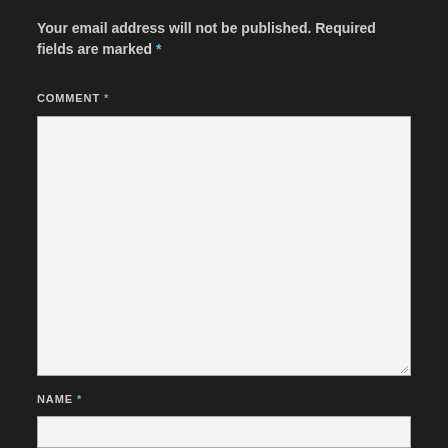Your email address will not be published. Required fields are marked *
COMMENT *
[Figure (screenshot): Large text area input box for comment, light gray background with resize handle at bottom right]
NAME *
[Figure (screenshot): Text input box for name, light gray background, partially visible]